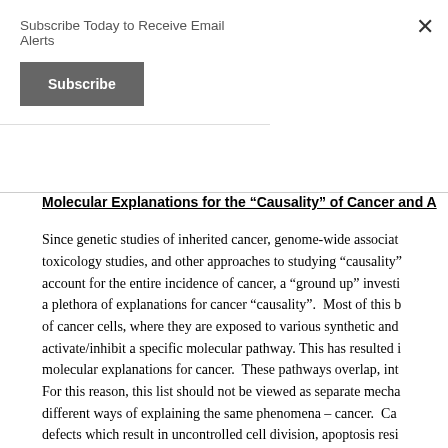Subscribe Today to Receive Email Alerts
Subscribe
Molecular Explanations for the “Causality” of Cancer and A…
Since genetic studies of inherited cancer, genome-wide associat… toxicology studies, and other approaches to studying “causality”… account for the entire incidence of cancer, a “ground up” investi… a plethora of explanations for cancer “causality”.  Most of this b… of cancer cells, where they are exposed to various synthetic and… activate/inhibit a specific molecular pathway. This has resulted i… molecular explanations for cancer.  These pathways overlap, int… For this reason, this list should not be viewed as separate mecha… different ways of explaining the same phenomena – cancer.  Ca… defects which result in uncontrolled cell division, apoptosis resi…
Epigenetic Silencing of “Good Genes”